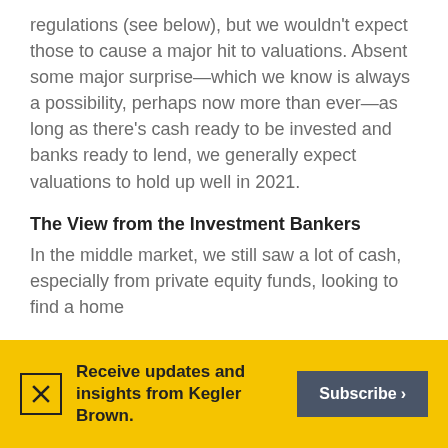regulations (see below), but we wouldn't expect those to cause a major hit to valuations. Absent some major surprise—which we know is always a possibility, perhaps now more than ever—as long as there's cash ready to be invested and banks ready to lend, we generally expect valuations to hold up well in 2021.
The View from the Investment Bankers
In the middle market, we still saw a lot of cash, especially from private equity funds, looking to find a home
Receive updates and insights from Kegler Brown.